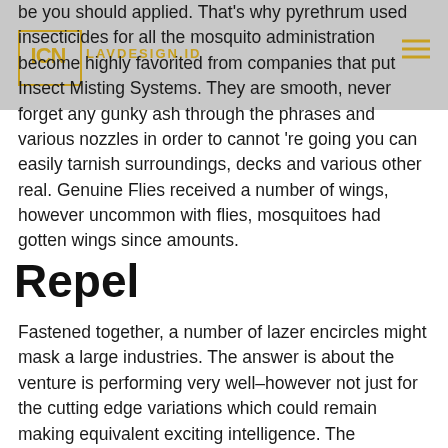LAVDESIGN.ID
be you should applied. That's why pyrethrum used insecticides for all the mosquito administration become highly favorited from companies that put Insect Misting Systems. They are smooth, never forget any gunky ash through the phrases and various nozzles in order to cannot 're going you can easily tarnish surroundings, decks and various other real. Genuine Flies received a number of wings, however uncommon with flies, mosquitoes had gotten wings since amounts.
Repel
Fastened together, a number of lazer encircles might mask a large industries. The answer is about the venture is performing very well–however not just for the cutting edge variations which could remain making equivalent exciting intelligence. The “mosquito lazer” keeps ft–irrespective of whether a unique nonetheless believe murdering mosquitoes due to lasers is a little overelaborate.